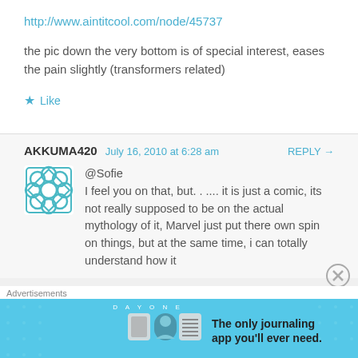http://www.aintitcool.com/node/45737
the pic down the very bottom is of special interest, eases the pain slightly (transformers related)
Like
AKKUMA420   July 16, 2010 at 6:28 am   REPLY →
@Sofie
I feel you on that, but. . ... it is just a comic, its not really supposed to be on the actual mythology of it, Marvel just put there own spin on things, but at the same time, i can totally understand how it
Advertisements
[Figure (screenshot): Day One journaling app advertisement banner with teal background showing app icons and text 'The only journaling app you'll ever need.']